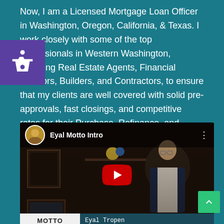Now, I am a Licensed Mortgage Loan Officer in Washington, Oregon, California, & Texas. I work closely with some of the top professionals in Western Washington, including Real Estate Agents, Financial Advisors, Builders, and Contractors, to ensure that my clients are well covered with solid pre-approvals, fast closings, and competitive rates for their Purchase, Refinance, and Investment transactions.
[Figure (screenshot): Embedded YouTube video thumbnail titled 'Eyal Motto Intro' showing a man in a suit smiling, with a YouTube play button overlay. Bottom bar shows 'MOTTO' logo on left and 'Eyal Tropen' text on right.]